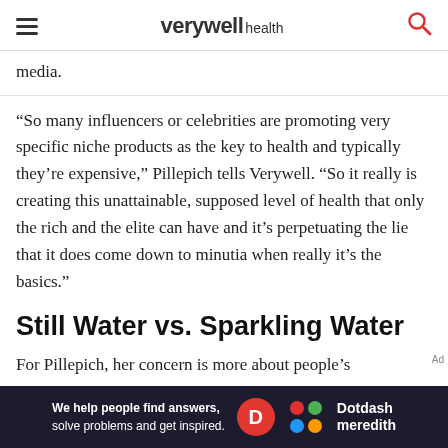verywell health
media.
“So many influencers or celebrities are promoting very specific niche products as the key to health and typically they’re expensive,” Pillepich tells Verywell. “So it really is creating this unattainable, supposed level of health that only the rich and the elite can have and it’s perpetuating the lie that it does come down to minutia when really it’s the basics.”
Still Water vs. Sparkling Water
For Pillepich, her concern is more about people’s
[Figure (other): Dotdash Meredith advertisement banner: 'We help people find answers, solve problems and get inspired.' with Dotdash Meredith logo]